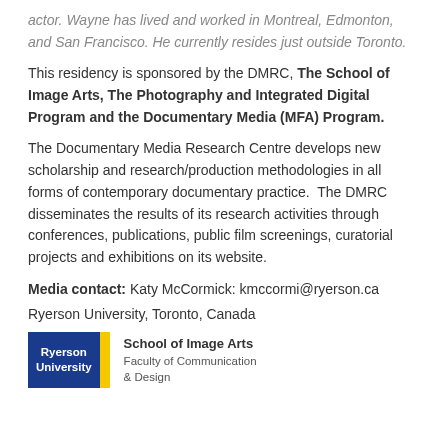actor. Wayne has lived and worked in Montreal, Edmonton, and San Francisco. He currently resides just outside Toronto.
This residency is sponsored by the DMRC, The School of Image Arts, The Photography and Integrated Digital Program and the Documentary Media (MFA) Program.
The Documentary Media Research Centre develops new scholarship and research/production methodologies in all forms of contemporary documentary practice.  The DMRC disseminates the results of its research activities through conferences, publications, public film screenings, curatorial projects and exhibitions on its website.
Media contact: Katy McCormick: kmccormi@ryerson.ca
Ryerson University, Toronto, Canada
[Figure (logo): Ryerson University logo with blue rectangle, yellow stripe, and School of Image Arts text with Faculty of Communication & Design]